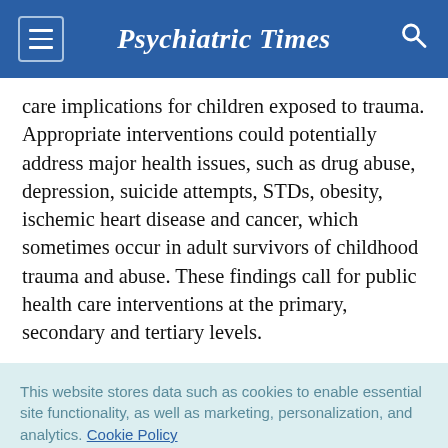Psychiatric Times
care implications for children exposed to trauma. Appropriate interventions could potentially address major health issues, such as drug abuse, depression, suicide attempts, STDs, obesity, ischemic heart disease and cancer, which sometimes occur in adult survivors of childhood trauma and abuse. These findings call for public health care interventions at the primary, secondary and tertiary levels.
This website stores data such as cookies to enable essential site functionality, as well as marketing, personalization, and analytics. Cookie Policy
Accept
Deny